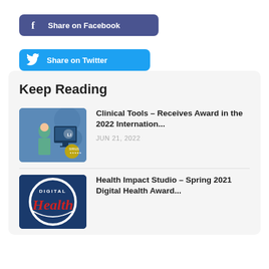[Figure (other): Share on Facebook button with Facebook 'f' icon on dark blue-purple background]
[Figure (other): Share on Twitter button with Twitter bird icon on bright blue background]
Keep Reading
[Figure (photo): Thumbnail image showing a healthcare professional in front of a computer screen with awards/SIRIUS badge, blue background with clinical tools branding]
Clinical Tools – Receives Award in the 2022 Internation...
JUN 21, 2022
[Figure (logo): Digital Health award logo with red cursive text 'Health' on dark blue circular background]
Health Impact Studio – Spring 2021 Digital Health Award...